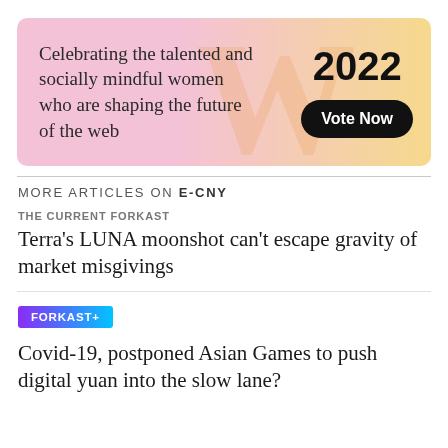[Figure (infographic): Advertisement banner with pink-to-yellow gradient background and a large watermark W logo. Text: 'Celebrating the talented and socially mindful women who are shaping the future of the web'. Year '2022' in bold large font. Black pill-shaped 'Vote Now' button.]
MORE ARTICLES ON E-CNY
THE CURRENT FORKAST
Terra's LUNA moonshot can't escape gravity of market misgivings
FORKAST+
Covid-19, postponed Asian Games to push digital yuan into the slow lane?